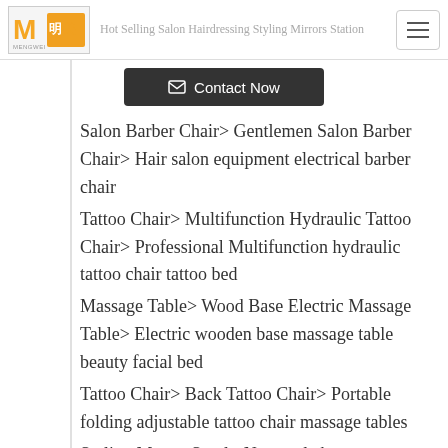Hot Selling Salon Hairdressing Styling Mirrors Station
Contact Now
Salon Barber Chair> Gentlemen Salon Barber Chair> Hair salon equipment electrical barber chair
Tattoo Chair> Multifunction Hydraulic Tattoo Chair> Professional Multifunction hydraulic tattoo chair tattoo bed
Massage Table> Wood Base Electric Massage Table> Electric wooden base massage table beauty facial bed
Tattoo Chair> Back Tattoo Chair> Portable folding adjustable tattoo chair massage tables
Styling Master Stool> New style beauty